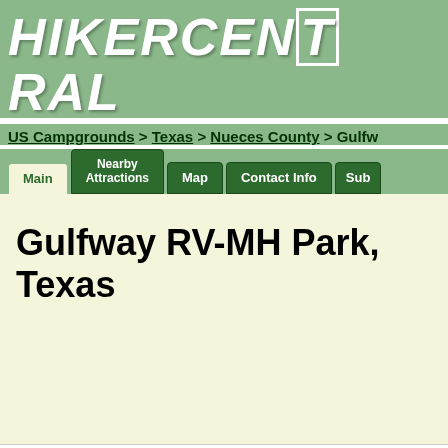HIKERCENTRAL
US Campgrounds > Texas > Nueces County > Gulfw
Main | Nearby Attractions | Map | Contact Info | Sub
Gulfway RV-MH Park, Texas
Google Custom Search